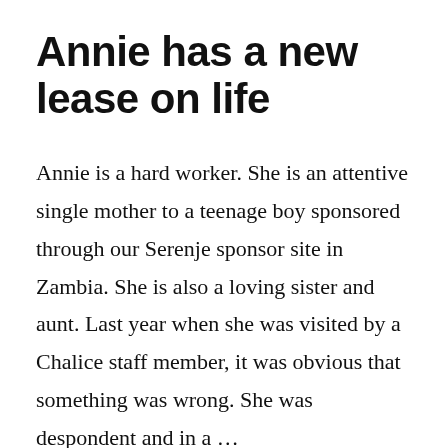Annie has a new lease on life
Annie is a hard worker. She is an attentive single mother to a teenage boy sponsored through our Serenje sponsor site in Zambia. She is also a loving sister and aunt. Last year when she was visited by a Chalice staff member, it was obvious that something was wrong. She was despondent and in a …